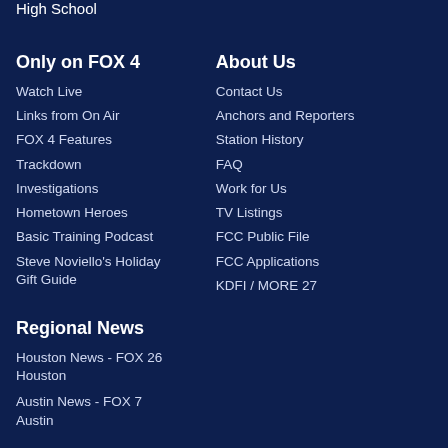High School
Only on FOX 4
Watch Live
Links from On Air
FOX 4 Features
Trackdown
Investigations
Hometown Heroes
Basic Training Podcast
Steve Noviello's Holiday Gift Guide
About Us
Contact Us
Anchors and Reporters
Station History
FAQ
Work for Us
TV Listings
FCC Public File
FCC Applications
KDFI / MORE 27
Regional News
Houston News - FOX 26 Houston
Austin News - FOX 7 Austin